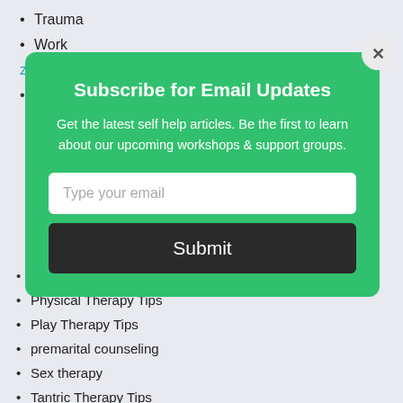Trauma
Work
[Figure (screenshot): Green popup modal for email subscription with title 'Subscribe for Email Updates', body text, email input field, and Submit button, plus a close (×) button in the top right corner.]
Online Therapy
Physical Therapy Tips
Play Therapy Tips
premarital counseling
Sex therapy
Tantric Therapy Tips
Therapy Info
Urogynecology
zz Blog